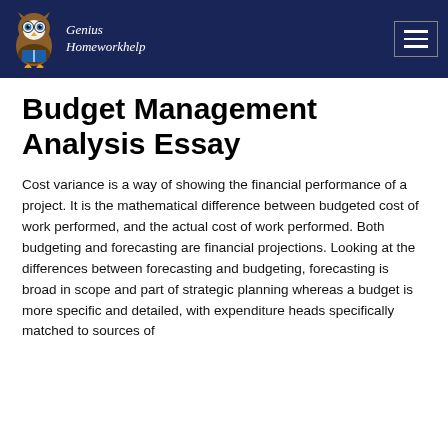Genius Homeworkhelp
Budget Management Analysis Essay
Cost variance is a way of showing the financial performance of a project. It is the mathematical difference between budgeted cost of work performed, and the actual cost of work performed. Both budgeting and forecasting are financial projections. Looking at the differences between forecasting and budgeting, forecasting is broad in scope and part of strategic planning whereas a budget is more specific and detailed, with expenditure heads specifically matched to sources of